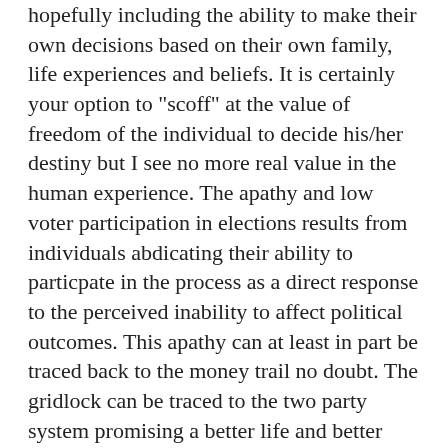hopefully including the ability to make their own decisions based on their own family, life experiences and beliefs. It is certainly your option to "scoff" at the value of freedom of the individual to decide his/her destiny but I see no more real value in the human experience. The apathy and low voter participation in elections results from individuals abdicating their ability to particpate in the process as a direct response to the perceived inability to affect political outcomes. This apathy can at least in part be traced back to the money trail no doubt. The gridlock can be traced to the two party system promising a better life and better way to be provided and delivered by only their party. If the focus is only on creating the right program or punishing the rich then the real work of the people never gets done. From this scenario the individual response to adverse situations will always be looking for a scapegoat rather than a solution that is minimally invasive and equitable in its nature. The only basis for human rights if one does not depend